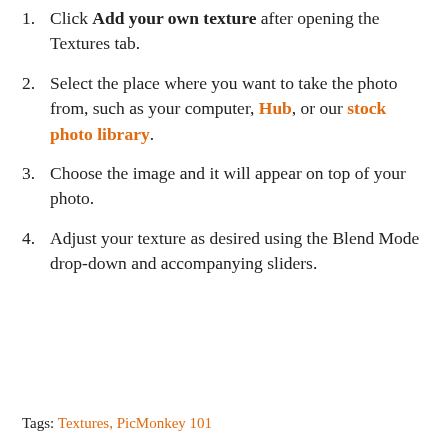1. Click Add your own texture after opening the Textures tab.
2. Select the place where you want to take the photo from, such as your computer, Hub, or our stock photo library.
3. Choose the image and it will appear on top of your photo.
4. Adjust your texture as desired using the Blend Mode drop-down and accompanying sliders.
Tags: Textures, PicMonkey 101